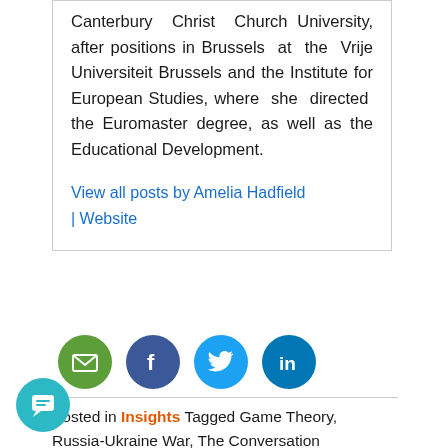Canterbury Christ Church University, after positions in Brussels at the Vrije Universiteit Brussels and the Institute for European Studies, where she directed the Euromaster degree, as well as the Educational Development.
View all posts by Amelia Hadfield | Website
[Figure (other): Social media sharing icons: email (green), Facebook (dark blue), Twitter (light blue), LinkedIn (blue)]
Posted in Insights Tagged Game Theory, Russia-Ukraine War, The Conversation